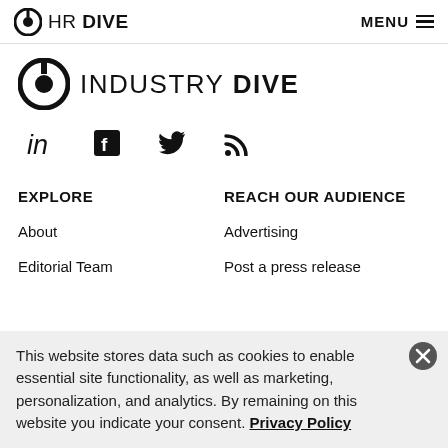HR DIVE   MENU
[Figure (logo): Industry Dive logo with circular icon and text INDUSTRY DIVE]
[Figure (infographic): Social media icons: LinkedIn, Facebook, Twitter, RSS feed]
EXPLORE
REACH OUR AUDIENCE
About
Advertising
Editorial Team
Post a press release
This website stores data such as cookies to enable essential site functionality, as well as marketing, personalization, and analytics. By remaining on this website you indicate your consent. Privacy Policy